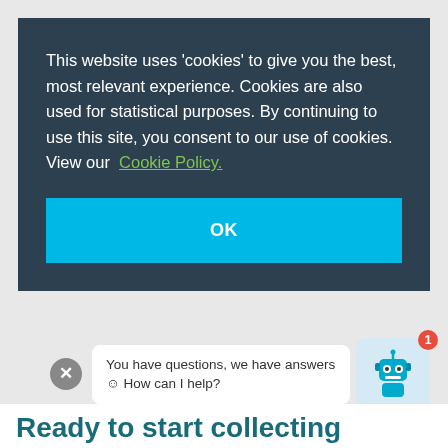This website uses 'cookies' to give you the best, most relevant experience. Cookies are also used for statistical purposes. By continuing to use this site, you consent to our use of cookies. View our Cookie Policy.
OK
You have questions, we have answers 😊 How can I help?
Ready to start collecting